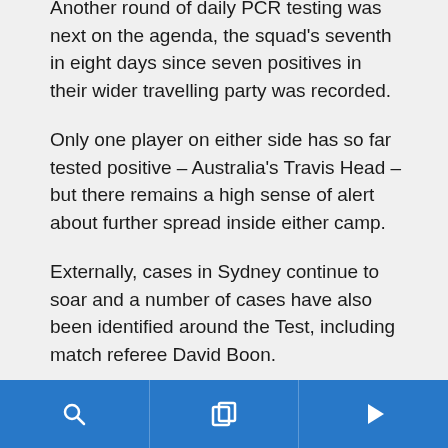Another round of daily PCR testing was next on the agenda, the squad's seventh in eight days since seven positives in their wider travelling party was recorded.
Only one player on either side has so far tested positive – Australia's Travis Head – but there remains a high sense of alert about further spread inside either camp.
Externally, cases in Sydney continue to soar and a number of cases have also been identified around the Test, including match referee David Boon.
Glenn McGrath, who has hosted a breast cancer fundraiser and awareness campaign during the New Year Test for the past 13 years, in honour of his late wife Jane, has had to withdraw from the traditional launch event.
search | copy | play